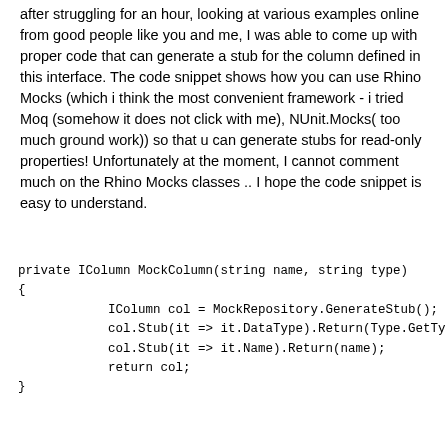after struggling for an hour, looking at various examples online from good people like you and me, I was able to come up with proper code that can generate a stub for the column defined in this interface. The code snippet shows how you can use Rhino Mocks (which i think the most convenient framework - i tried Moq (somehow it does not click with me), NUnit.Mocks( too much ground work)) so that u can generate stubs for read-only properties! Unfortunately at the moment, I cannot comment much on the Rhino Mocks classes .. I hope the code snippet is easy to understand.
private IColumn MockColumn(string name, string type)
{
            IColumn col = MockRepository.GenerateStub();
            col.Stub(it => it.DataType).Return(Type.GetTy
            col.Stub(it => it.Name).Return(name);
            return col;
}